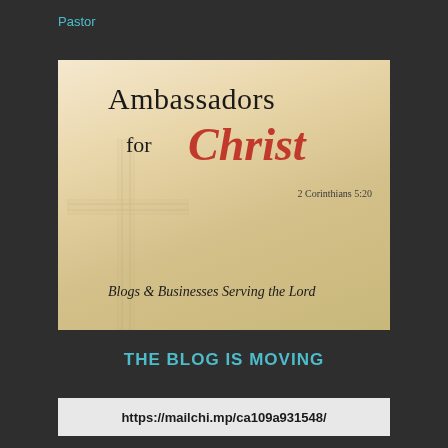Pastor
[Figure (illustration): Ambassadors for Christ – 2 Corinthians 5:20 – Blogs & Businesses Serving the Lord promotional image with a cross silhouette on a warm golden sky background]
THE BLOG IS MOVING
https://mailchi.mp/ca109a931548/